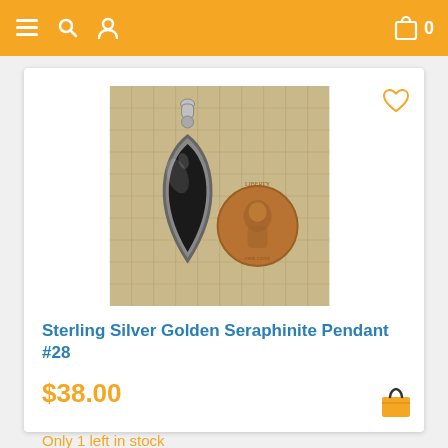Navigation bar with menu, search, user, cart icons
[Figure (photo): A sterling silver pendant with a dark teardrop-shaped seraphinite stone in a silver bezel setting, with a bail at top, displayed next to a penny for size comparison, on a burlap fabric background.]
Sterling Silver Golden Seraphinite Pendant #28
$38.00
Only 1 left in stock